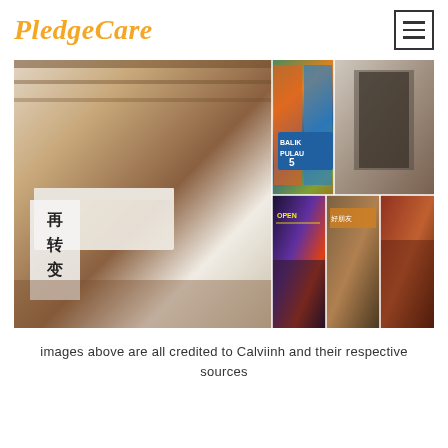PledgeCare
[Figure (photo): Collage of travel/accommodation photos: a large vintage-style bedroom with wooden ceiling and Chinese calligraphy sign (再转变), street art showing colorful murals with a BALIK PULAU 5 street sign, a rustic doorway interior, and three nightlife/restaurant scenes including a bar with OPEN sign, a Chinese restaurant signage, and a crowded dining scene.]
images above are all credited to Calviinh and their respective sources